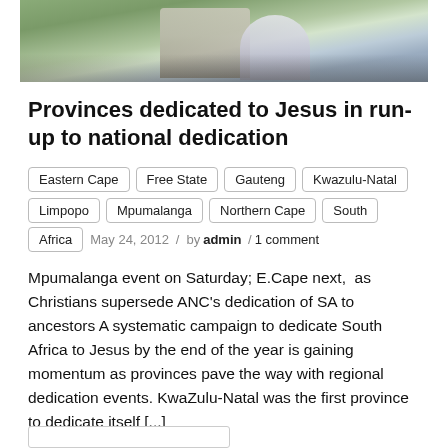[Figure (photo): Partial photo of people gathered outdoors on grass, cropped at top of frame]
Provinces dedicated to Jesus in run-up to national dedication
Eastern Cape  Free State  Gauteng  Kwazulu-Natal  Limpopo  Mpumalanga  Northern Cape  South Africa  May 24, 2012 / by admin / 1 comment
Mpumalanga event on Saturday; E.Cape next, as Christians supersede ANC's dedication of SA to ancestors A systematic campaign to dedicate South Africa to Jesus by the end of the year is gaining momentum as provinces pave the way with regional dedication events. KwaZulu-Natal was the first province to dedicate itself [...]